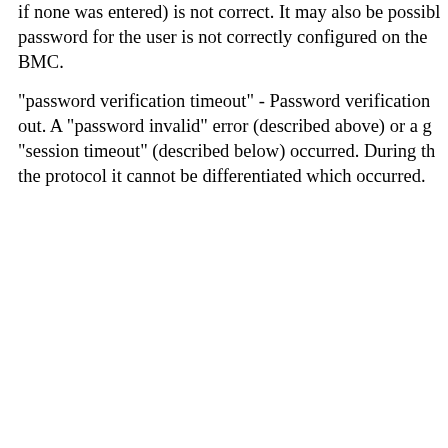password invalid - the password entered (or NULL if none was entered) is not correct. It may also be possible the password for the user is not correctly configured on the BMC.
"password verification timeout" - Password verification timed out. A "password invalid" error (described above) or a general "session timeout" (described below) occurred. During the protocol it cannot be differentiated which occurred.